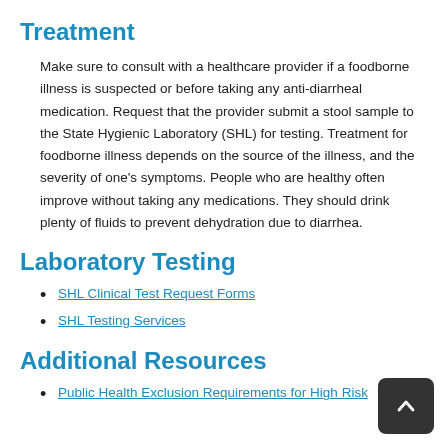Treatment
Make sure to consult with a healthcare provider if a foodborne illness is suspected or before taking any anti-diarrheal medication. Request that the provider submit a stool sample to the State Hygienic Laboratory (SHL) for testing. Treatment for foodborne illness depends on the source of the illness, and the severity of one's symptoms. People who are healthy often improve without taking any medications. They should drink plenty of fluids to prevent dehydration due to diarrhea.
Laboratory Testing
SHL Clinical Test Request Forms
SHL Testing Services
Additional Resources
Public Health Exclusion Requirements for High Risk